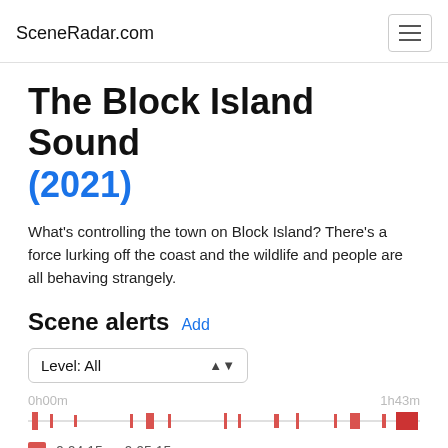SceneRadar.com
The Block Island Sound (2021)
What's controlling the town on Block Island? There's a force lurking off the coast and the wildlife and people are all behaving strangely.
Scene alerts  Add
Level: All
[Figure (other): Timeline bar showing scene alert markers distributed across the movie duration from 0h00m to 1h43m, with multiple red vertical marks of varying widths positioned along a horizontal gray line]
0:04:15 — 0:05:15